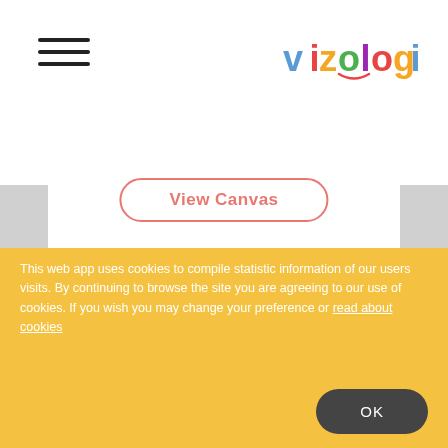vizologi
View Canvas
banking  retail  finance  savings  loans  interests  financial services  credit cards  mortgages
This web app uses cookies to compile statistic information of our users visits. By continuing to browse the site you are agreeing to our use of cookies. If you wish you may change your preference or read about cookies
OK